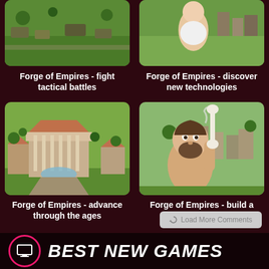[Figure (screenshot): Forge of Empires gameplay screenshot - tactical battle scene (top left, partially cropped)]
[Figure (screenshot): Forge of Empires gameplay screenshot - new technologies scene with character (top right, partially cropped)]
Forge of Empires - fight tactical battles
Forge of Empires - discover new technologies
[Figure (screenshot): Forge of Empires gameplay screenshot - city building scene with Roman-style buildings]
[Figure (screenshot): Forge of Empires gameplay screenshot - prehistoric character holding bone with city in background]
Forge of Empires - advance through the ages
Forge of Empires - build a historic city
Load More Comments
BEST NEW GAMES